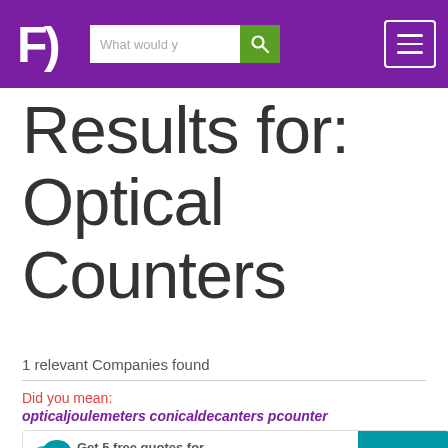[Figure (logo): FD logo — white letters F and D on purple background]
Results for: Optical Counters
1 relevant Companies found
Did you mean:
opticaljoulemeters conicaldecanters pcounter
Get 5 free quotes for 'Optical Counters'
Get a Quo